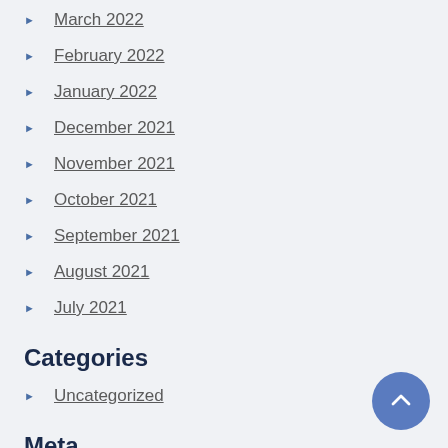March 2022
February 2022
January 2022
December 2021
November 2021
October 2021
September 2021
August 2021
July 2021
Categories
Uncategorized
Meta